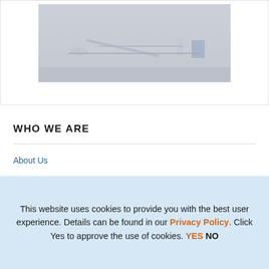[Figure (photo): A foggy/hazy photograph of what appears to be an aircraft or airplane structure on the ground, with gray misty background]
WHO WE ARE
About Us
History
Leadership
Stewardship
This website uses cookies to provide you with the best user experience. Details can be found in our Privacy Policy. Click Yes to approve the use of cookies. YES NO